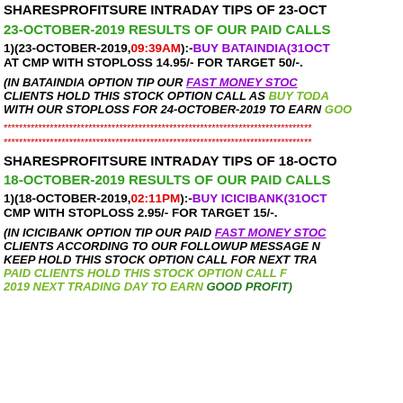SHARESPROFITSURE INTRADAY TIPS OF 23-OCT...
23-OCTOBER-2019 RESULTS OF OUR PAID CALLS
1)(23-OCTOBER-2019,09:39AM):-BUY BATAINDIA(31OCT...) AT CMP WITH STOPLOSS 14.95/- FOR TARGET 50/-.
(IN BATAINDIA OPTION TIP OUR FAST MONEY STOC... CLIENTS HOLD THIS STOCK OPTION CALL AS BUY TODA... WITH OUR STOPLOSS FOR 24-OCTOBER-2019 TO EARN GOO...
******************************************************************************
******************************************************************************
SHARESPROFITSURE INTRADAY TIPS OF 18-OCTO...
18-OCTOBER-2019 RESULTS OF OUR PAID CALLS
1)(18-OCTOBER-2019,02:11PM):-BUY ICICIBANK(31OCT...) CMP WITH STOPLOSS 2.95/- FOR TARGET 15/-.
(IN ICICIBANK OPTION TIP OUR PAID FAST MONEY STOC... CLIENTS ACCORDING TO OUR FOLLOWUP MESSAGE N... KEEP HOLD THIS STOCK OPTION CALL FOR NEXT TRA... PAID CLIENTS HOLD THIS STOCK OPTION CALL F... 2019 NEXT TRADING DAY TO EARN GOOD PROFIT)